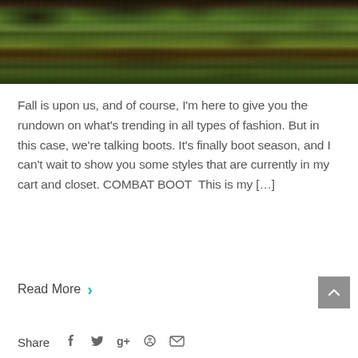[Figure (photo): Outdoor photo showing a boot/shoe on grass and dirt ground with leaves and a stick visible]
Fall is upon us, and of course, I'm here to give you the rundown on what's trending in all types of fashion. But in this case, we're talking boots. It's finally boot season, and I can't wait to show you some styles that are currently in my cart and closet. COMBAT BOOT  This is my [...]
Read More >